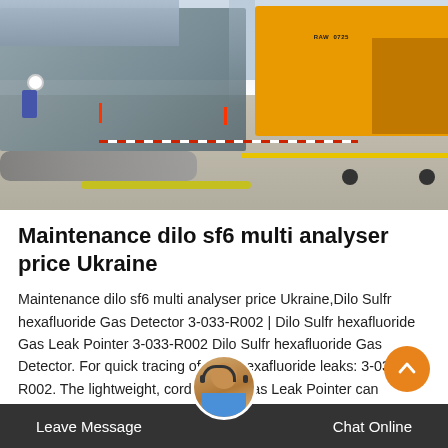[Figure (photo): Industrial/electrical substation yard with heavy equipment, pipes, a yellow truck marked 'RAW 0725', a worker in hard hat, red-and-white barriers, and concrete ground with yellow lines.]
Maintenance dilo sf6 multi analyser price Ukraine
Maintenance dilo sf6 multi analyser price Ukraine,Dilo Sulfr hexafluoride Gas Detector 3-033-R002 | Dilo Sulfr hexafluoride Gas Leak Pointer 3-033-R002 Dilo Sulfr hexafluoride Gas Detector. For quick tracing of Sulfr hexafluoride leaks: 3-033-R002. The lightweight, cordless sf6 gas Leak Pointer can
Leave Message   Chat Online